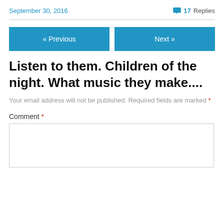September 30, 2016   17 Replies
« Previous   Next »
Listen to them. Children of the night. What music they make....
Your email address will not be published. Required fields are marked *
Comment *